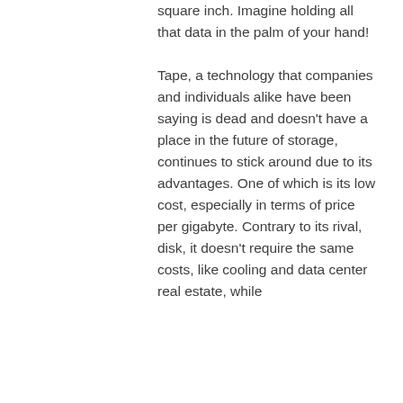square inch.  Imagine holding all that data in the palm of your hand!
Tape, a technology that companies and individuals alike have been saying is dead and doesn't have a place in the future of storage, continues to stick around due to its advantages.  One of which is its low cost, especially in terms of price per gigabyte.  Contrary to its rival, disk, it doesn't require the same costs, like cooling and data center real estate, while